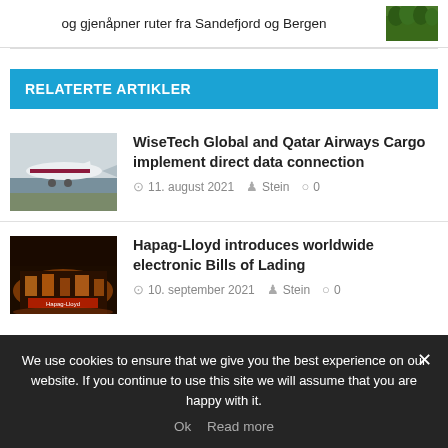og gjenåpner ruter fra Sandefjord og Bergen
RELATERTE ARTIKLER
[Figure (photo): Qatar Airways cargo plane in flight]
WiseTech Global and Qatar Airways Cargo implement direct data connection
11. august 2021  Stein  0
[Figure (photo): Hapag-Lloyd terminal at night with orange lights]
Hapag-Lloyd introduces worldwide electronic Bills of Lading
10. september 2021  Stein  0
We use cookies to ensure that we give you the best experience on our website. If you continue to use this site we will assume that you are happy with it.
Ok  Read more